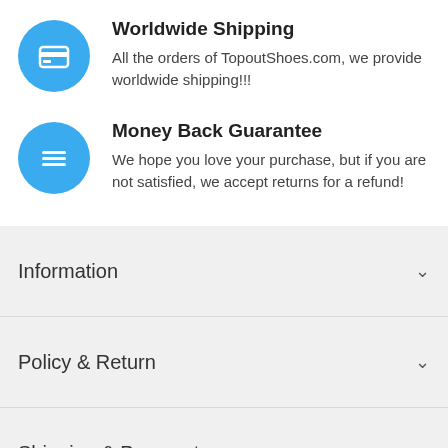[Figure (illustration): Blue circle icon with a credit card / wallet symbol in white]
Worldwide Shipping
All the orders of TopoutShoes.com, we provide worldwide shipping!!!
[Figure (illustration): Blue circle icon with horizontal lines (menu/list) symbol in white]
Money Back Guarantee
We hope you love your purchase, but if you are not satisfied, we accept returns for a refund!
Information
Policy & Return
Shipping & Payment
More Help